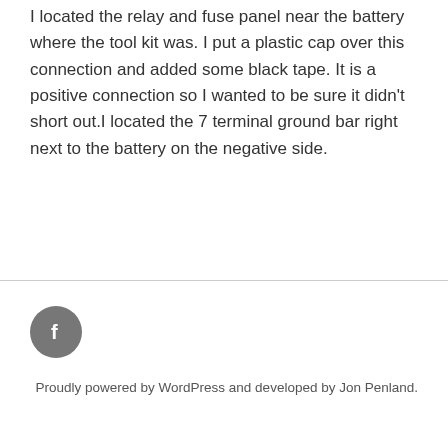I located the relay and fuse panel near the battery where the tool kit was. I put a plastic cap over this connection and added some black tape. It is a positive connection so I wanted to be sure it didn't short out.I located the 7 terminal ground bar right next to the battery on the negative side.
[Figure (other): Facebook social media icon — grey circle with white lowercase f]
Proudly powered by WordPress and developed by Jon Penland.